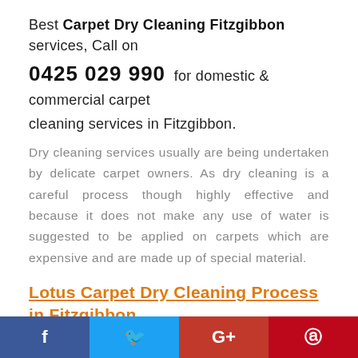Best Carpet Dry Cleaning Fitzgibbon services, Call on 0425 029 990 for domestic & commercial carpet cleaning services in Fitzgibbon.
Dry cleaning services usually are being undertaken by delicate carpet owners. As dry cleaning is a careful process though highly effective and because it does not make any use of water is suggested to be applied on carpets which are expensive and are made up of special material.
Lotus Carpet Dry Cleaning Process in Fitzgibbon
[Figure (photo): Three side-by-side photos of carpet cleaning: a light-colored carpet area, a dark vacuum/cleaning tool, and a wooden floor.]